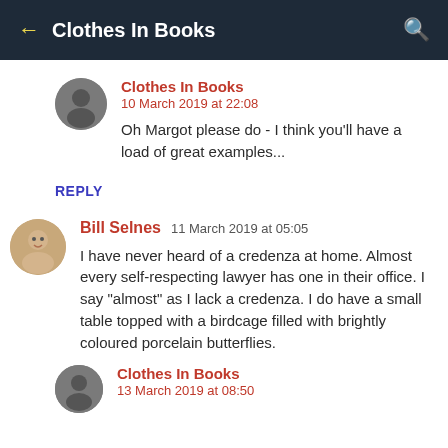← Clothes In Books 🔍
Clothes In Books
10 March 2019 at 22:08
Oh Margot please do - I think you'll have a load of great examples...
REPLY
Bill Selnes  11 March 2019 at 05:05
I have never heard of a credenza at home. Almost every self-respecting lawyer has one in their office. I say "almost" as I lack a credenza. I do have a small table topped with a birdcage filled with brightly coloured porcelain butterflies.
Clothes In Books
13 March 2019 at 08:50